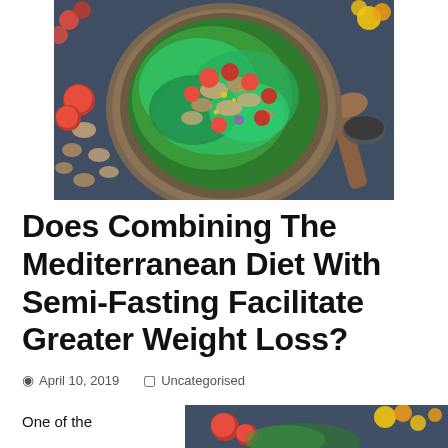[Figure (photo): Overhead view of a rustic wooden bowl filled with green salad, cherry tomatoes, and walnuts on a dark blue surface with scattered walnuts, cherry tomatoes, yellow flowers, and a wooden spoon]
Does Combining The Mediterranean Diet With Semi-Fasting Facilitate Greater Weight Loss?
April 10, 2019   Uncategorised
One of the
[Figure (photo): Partial view of a salad bowl with cherry tomatoes and yellow flowers on a dark blue surface]